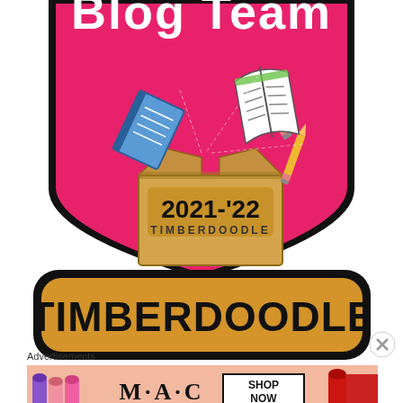[Figure (illustration): Pink shield-shaped badge with 'Blog Team' text at top, illustration of an open cardboard box with books, pencils and papers flying out. Box has '2021-'22' and 'TIMBERDOODLE' written on it. Black border around the shield shape.]
[Figure (logo): Timberdoodle logo: rounded rectangle with thick black border, orange/golden background with large bold black text 'TIMBERDOODLE'.]
Advertisements
[Figure (screenshot): MAC cosmetics advertisement banner showing lipsticks in purple, pink, and red colors, MAC logo text, and a 'SHOP NOW' button box.]